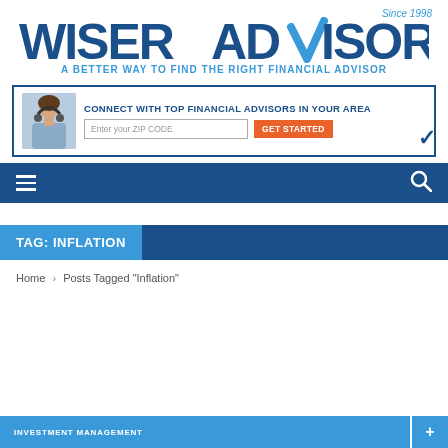[Figure (logo): WiserAdvisor logo with blue checkmark and tagline 'A Better Way to Find the Right Financial Advisor', Since 1998]
[Figure (infographic): Banner ad: Connect with Top Financial Advisors in Your Area. Zip code input field and GET STARTED orange button. Photo of woman on left.]
[Figure (infographic): Navigation bar with hamburger menu icon on left and search icon on right, dark blue background]
TAG: INFLATION
Home › Posts Tagged "Inflation"
INVESTMENT MANAGEMENT